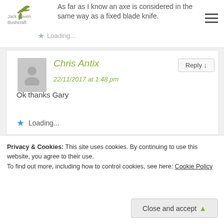As far as I know an axe is considered in the same way as a fixed blade knife.
Loading...
Chris Antix
22/11/2017 at 1:48 pm
Ok thanks Gary
Loading...
Ian
24/04/2022 at 4:16 pm
Privacy & Cookies: This site uses cookies. By continuing to use this website, you agree to their use.
To find out more, including how to control cookies, see here: Cookie Policy